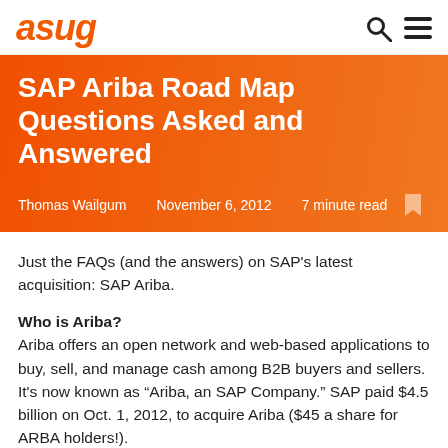asug
SAP Ariba Road Map Questions Asked and Answered
Thomas Wailgum   November 6, 2012   7 minute read
Just the FAQs (and the answers) on SAP's latest acquisition: SAP Ariba.
Who is Ariba?
Ariba offers an open network and web-based applications to buy, sell, and manage cash among B2B buyers and sellers. It's now known as “Ariba, an SAP Company.” SAP paid $4.5 billion on Oct. 1, 2012, to acquire Ariba ($45 a share for ARBA holders!).
Ariba says it’s: